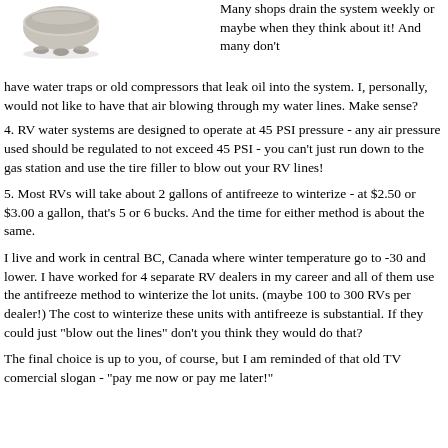[Figure (photo): A ceramic or stone pot/mortar with feet, viewed from above, gray color]
Many shops drain the system weekly or maybe when they think about it! And many don't have water traps or old compressors that leak oil into the system. I, personally, would not like to have that air blowing through my water lines. Make sense?
4. RV water systems are designed to operate at 45 PSI pressure - any air pressure used should be regulated to not exceed 45 PSI - you can't just run down to the gas station and use the tire filler to blow out your RV lines!
5. Most RVs will take about 2 gallons of antifreeze to winterize - at $2.50 or $3.00 a gallon, that's 5 or 6 bucks. And the time for either method is about the same.
I live and work in central BC, Canada where winter temperature go to -30 and lower. I have worked for 4 separate RV dealers in my career and all of them use the antifreeze method to winterize the lot units. (maybe 100 to 300 RVs per dealer!) The cost to winterize these units with antifreeze is substantial. If they could just "blow out the lines" don't you think they would do that?
The final choice is up to you, of course, but I am reminded of that old TV comercial slogan - "pay me now or pay me later!"